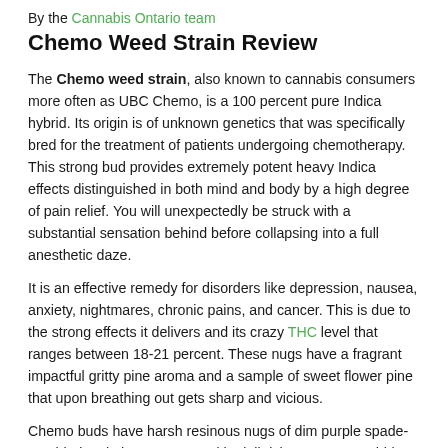By the Cannabis Ontario team
Chemo Weed Strain Review
The Chemo weed strain, also known to cannabis consumers more often as UBC Chemo, is a 100 percent pure Indica hybrid. Its origin is of unknown genetics that was specifically bred for the treatment of patients undergoing chemotherapy. This strong bud provides extremely potent heavy Indica effects distinguished in both mind and body by a high degree of pain relief. You will unexpectedly be struck with a substantial sensation behind before collapsing into a full anesthetic daze.
It is an effective remedy for disorders like depression, nausea, anxiety, nightmares, chronic pains, and cancer. This is due to the strong effects it delivers and its crazy THC level that ranges between 18-21 percent. These nugs have a fragrant impactful gritty pine aroma and a sample of sweet flower pine that upon breathing out gets sharp and vicious.
Chemo buds have harsh resinous nugs of dim purple spade-moulded rock that are covered in dull rich orange wavy hide. A layer of thick stout white gem trichomes and a fine layer of tacky sweet pitch are caked into each nug.